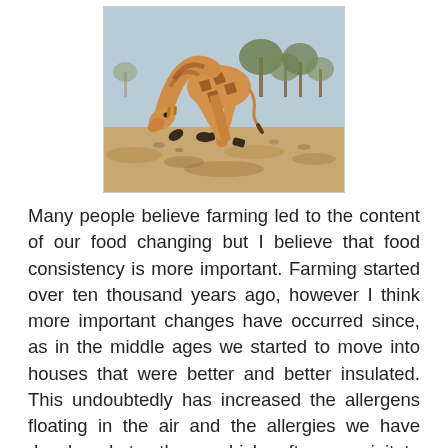[Figure (photo): A giraffe bending its neck down toward the dry ground in an arid savanna landscape with sparse trees in the background.]
Many people believe farming led to the content of our food changing but I believe that food consistency is more important. Farming started over ten thousand years ago, however I think more important changes have occurred since, as in the middle ages we started to move into houses that were better and better insulated. This undoubtedly has increased the allergens floating in the air and the allergies we have developed to them which often precipitate mouth breathing. Research suggests (Glatz-Noll & Berg 1991) that healthy four to five year old civilised children leave their mouths open over 80% of the time. This can have a profound effect on facial growth (see